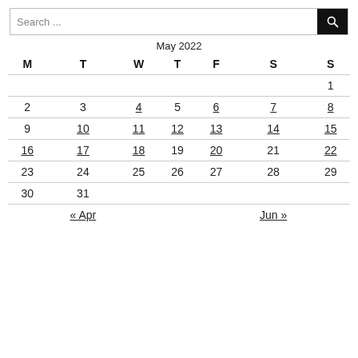[Figure (screenshot): Search bar with text 'Search...' and a black search button with magnifying glass icon]
| M | T | W | T | F | S | S |
| --- | --- | --- | --- | --- | --- | --- |
|  |  |  |  |  |  | 1 |
| 2 | 3 | 4 | 5 | 6 | 7 | 8 |
| 9 | 10 | 11 | 12 | 13 | 14 | 15 |
| 16 | 17 | 18 | 19 | 20 | 21 | 22 |
| 23 | 24 | 25 | 26 | 27 | 28 | 29 |
| 30 | 31 |  |  |  |  |  |
| « Apr |  |  |  |  |  | Jun » |